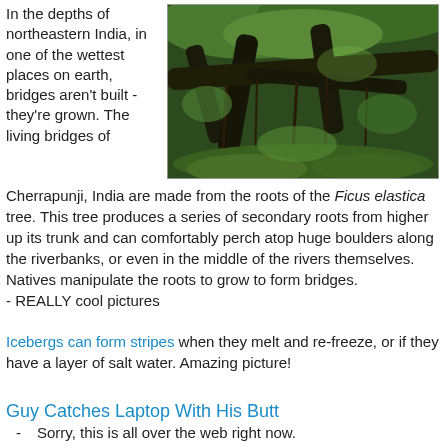In the depths of northeastern India, in one of the wettest places on earth, bridges aren't built - they're grown. The living bridges of
[Figure (photo): A living root bridge in the lush green forests of northeastern India, showing thick tree roots forming a bridge structure with dense vegetation.]
Cherrapunji, India are made from the roots of the Ficus elastica tree. This tree produces a series of secondary roots from higher up its trunk and can comfortably perch atop huge boulders along the riverbanks, or even in the middle of the rivers themselves. Natives manipulate the roots to grow to form bridges.
- REALLY cool pictures
Icebergs can form stripes when they melt and re-freeze, or if they have a layer of salt water. Amazing picture!
Guy Catches Laptop With His Butt
- Sorry, this is all over the web right now.